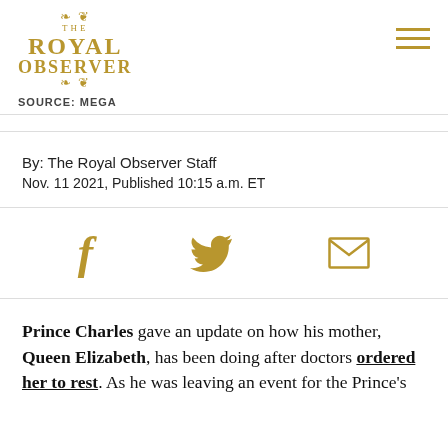THE ROYAL OBSERVER
SOURCE: MEGA
By: The Royal Observer Staff
Nov. 11 2021, Published 10:15 a.m. ET
[Figure (infographic): Social media share icons: Facebook, Twitter, Email]
Prince Charles gave an update on how his mother, Queen Elizabeth, has been doing after doctors ordered her to rest. As he was leaving an event for the Prince's